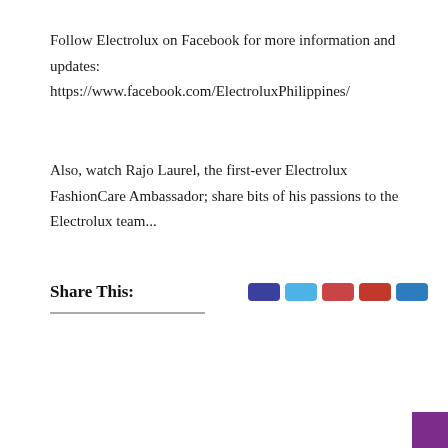Follow Electrolux on Facebook for more information and updates:
https://www.facebook.com/ElectroluxPhilippines/
Also, watch Rajo Laurel, the first-ever Electrolux FashionCare Ambassador; share bits of his passions to the Electrolux team...
Share This: